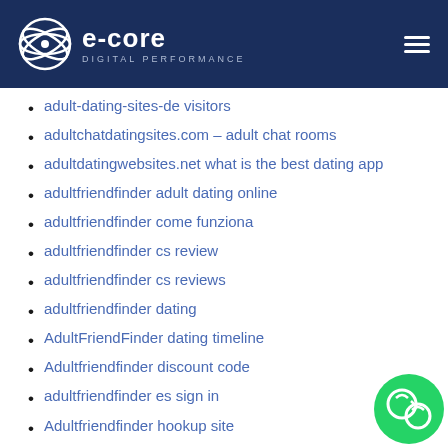e-core DIGITAL PERFORMANCE
adult-dating-sites-de visitors
adultchatdatingsites.com – adult chat rooms
adultdatingwebsites.net what is the best dating app
adultfriendfinder adult dating online
adultfriendfinder come funziona
adultfriendfinder cs review
adultfriendfinder cs reviews
adultfriendfinder dating
AdultFriendFinder dating timeline
Adultfriendfinder discount code
adultfriendfinder es sign in
Adultfriendfinder hookup site
adultfriendfinder log in
adultfriendfinder mobile site
adultfriendfinder online dating
adultfriendfinder review
adultfriendfinder tinder dating site
AdultFriendFinder visitors
adultfriendfinder_NL dating
adultfriendfinder-inceleme mobil